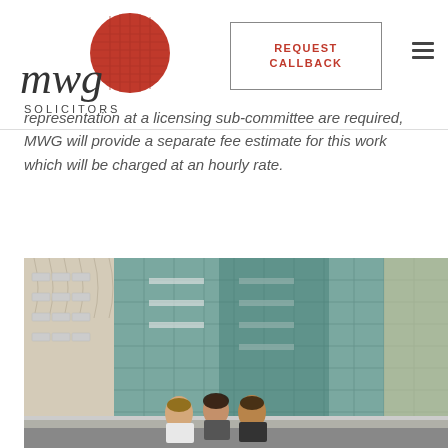[Figure (logo): MWG Solicitors logo with red sphere and serif text]
[Figure (other): REQUEST CALLBACK button with red text and border]
representation at a licensing sub-committee are required, MWG will provide a separate fee estimate for this work which will be charged at an hourly rate.
[Figure (photo): Modern glass office building exterior with group of professionals in foreground]